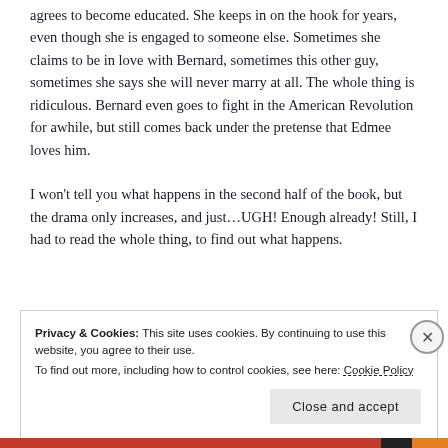agrees to become educated. She keeps in on the hook for years, even though she is engaged to someone else. Sometimes she claims to be in love with Bernard, sometimes this other guy, sometimes she says she will never marry at all. The whole thing is ridiculous. Bernard even goes to fight in the American Revolution for awhile, but still comes back under the pretense that Edmee loves him.
I won't tell you what happens in the second half of the book, but the drama only increases, and just…UGH! Enough already! Still, I had to read the whole thing, to find out what happens.
Privacy & Cookies: This site uses cookies. By continuing to use this website, you agree to their use. To find out more, including how to control cookies, see here: Cookie Policy